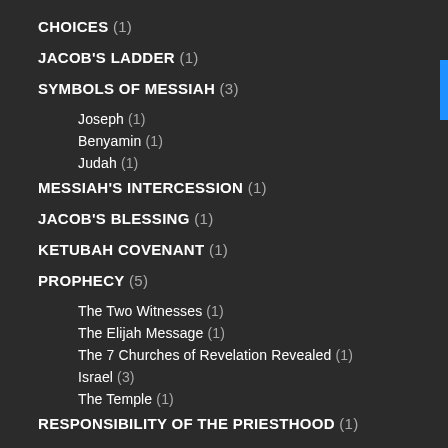CHOICES (1)
JACOB'S LADDER (1)
SYMBOLS OF MESSIAH (3)
Joseph (1)
Benyamin (1)
Judah (1)
MESSIAH'S INTERCESSION (1)
JACOB'S BLESSING (1)
KETUBAH COVENANT (1)
PROPHECY (5)
The Two Witnesses (1)
The Elijah Message (1)
The 7 Churches of Revelation Revealed (1)
Israel (3)
The Temple (1)
RESPONSIBILITY OF THE PRIESTHOOD (1)
HAFTARAH SERIES (1)
Passover (1)